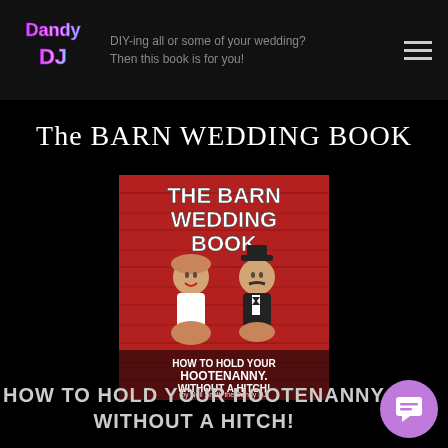DIY-ing all or some of your wedding? Then this book is for you!
The BARN WEDDING BOOK
[Figure (illustration): Book cover for 'The Barn Wedding Book: How to Hold Your Hootenanny Without a Hitch!' by Neil Smith the Dandy DJ. Red barn wood background with cartoon gingerbread-style bride and groom figures.]
HOW TO HOLD YOUR HOOTENANNY WITHOUT A HITCH!